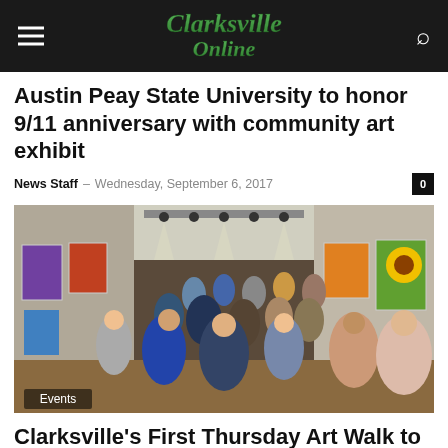Clarksville Online
Austin Peay State University to honor 9/11 anniversary with community art exhibit
News Staff – Wednesday, September 6, 2017
[Figure (photo): Crowded art gallery interior with paintings on walls, people browsing artwork, track lighting overhead. Caption overlay reads 'Events'.]
Clarksville's First Thursday Art Walk to take place March 2nd, 2017